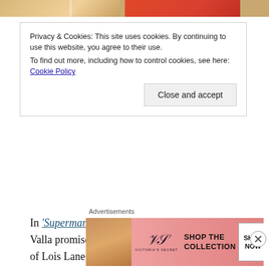[Figure (photo): Top strip showing partial images of people/fashion photos]
Privacy & Cookies: This site uses cookies. By continuing to use this website, you agree to their use.
To find out more, including how to control cookies, see here: Cookie Policy
Close and accept
In 'Superman Beyond' (2008) #1, Monitrix Zillo Valla promises Superman the Bleed to save the life of Lois Lane if he succeeds in stopping the ultimate threat. Valla reveals to Superman that the substance known as the Ultramenstruum is actually called the Bleed in the germ worlds. Apparently, the 52 universes of the DC multiverse all grew within the Bleed like crystals
Advertisements
[Figure (photo): Victoria's Secret advertisement banner with model, VS logo, 'SHOP THE COLLECTION' text, and 'SHOP NOW' button]